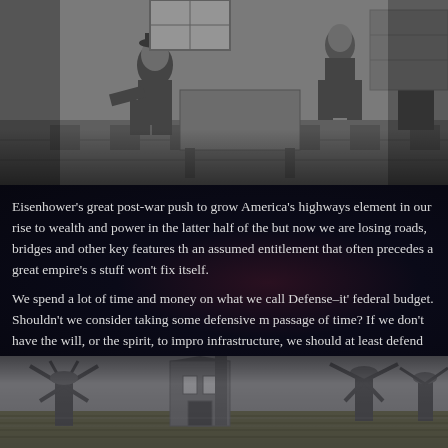[Figure (illustration): Black and white historical engraving showing figures in a room, appearing to be merchants or scholars at work with furniture and architectural elements]
Eisenhower’s great post-war push to grow America’s highways element in our rise to wealth and power in the latter half of the but now we are losing roads, bridges and other key features th an assumed entitlement that often precedes a great empire’s s stuff won’t fix itself.
We spend a lot of time and money on what we call Defense–it’ federal budget. Shouldn’t we consider taking some defensive m passage of time? If we don’t have the will, or the spirit, to impro infrastructure, we should at least defend against the loss of wh have already provided.
[Figure (illustration): Black and white historical engraving showing windmills and industrial buildings in a landscape scene]